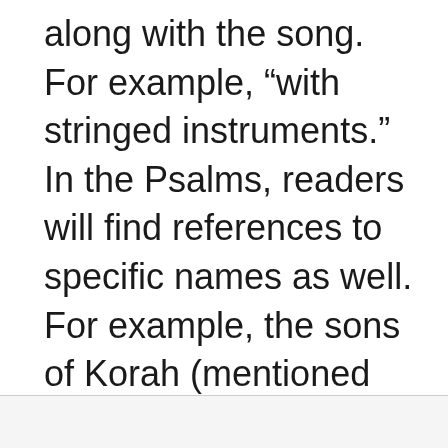along with the song. For example, “with stringed instruments.” In the Psalms, readers will find references to specific names as well. For example, the sons of Korah (mentioned eleven times) and Asaph (mentioned twelve times).